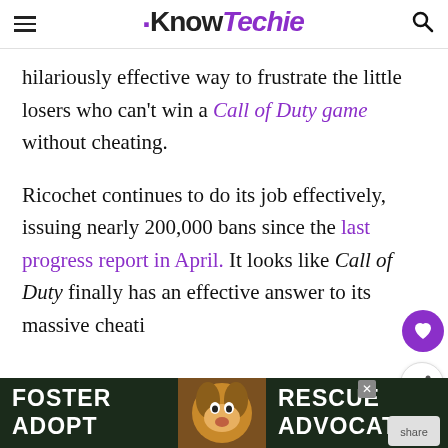KnowTechie
hilariously effective way to frustrate the little losers who can't win a Call of Duty game without cheating.
Ricochet continues to do its job effectively, issuing nearly 200,000 bans since the last progress report in April. It looks like Call of Duty finally has an effective answer to its massive cheating problem.
[Figure (photo): Foster Adopt Advocate dog rescue advertisement banner with a beagle dog image]